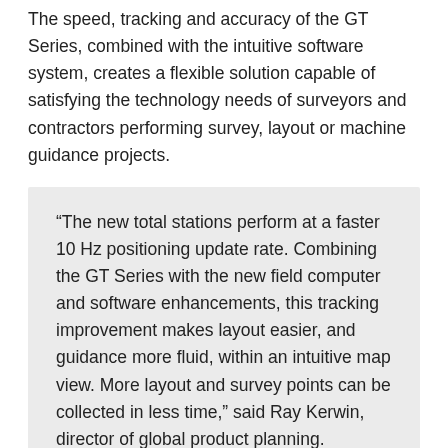The speed, tracking and accuracy of the GT Series, combined with the intuitive software system, creates a flexible solution capable of satisfying the technology needs of surveyors and contractors performing survey, layout or machine guidance projects.
“The new total stations perform at a faster 10 Hz positioning update rate. Combining the GT Series with the new field computer and software enhancements, this tracking improvement makes layout easier, and guidance more fluid, within an intuitive map view. More layout and survey points can be collected in less time,” said Ray Kerwin, director of global product planning.
“Surveyors, contractors, as well as heavy machinery automation operators and other construction professionals can benefit from the time-savings and accuracy the series provides,” said Kerwin.